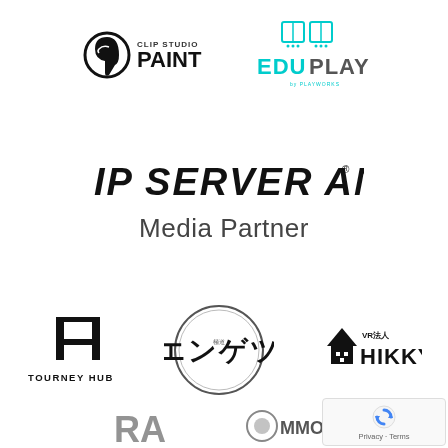[Figure (logo): Clip Studio Paint logo - black paint tool icon with text 'CLIP STUDIO PAINT']
[Figure (logo): EduPlay by Playworks logo - teal/cyan colored with book icon]
[Figure (logo): IP Server One logo - stylized italic black text with registered mark]
Media Partner
[Figure (logo): Tourney Hub logo - stylized H with bar and TOURNEY HUB text]
[Figure (logo): Japanese esports media logo with circular design and Japanese characters]
[Figure (logo): VR法人 HIKKY logo - house/building icon with HIKKY text]
[Figure (logo): Partial logo at bottom left - stylized letters]
[Figure (logo): Partial MMO logo at bottom center]
[Figure (logo): reCAPTCHA Privacy - Terms badge]